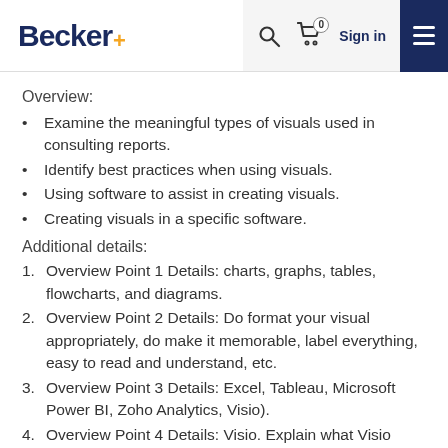Becker+ | Search | Cart 0 | Sign in
Overview:
Examine the meaningful types of visuals used in consulting reports.
Identify best practices when using visuals.
Using software to assist in creating visuals.
Creating visuals in a specific software.
Additional details:
Overview Point 1 Details: charts, graphs, tables, flowcharts, and diagrams.
Overview Point 2 Details: Do format your visual appropriately, do make it memorable, label everything, easy to read and understand, etc.
Overview Point 3 Details: Excel, Tableau, Microsoft Power BI, Zoho Analytics, Visio).
Overview Point 4 Details: Visio. Explain what Visio